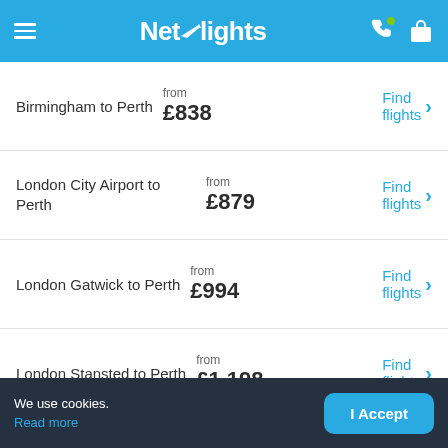Netflights
Birmingham to Perth — from £838 — Find flights
London City Airport to Perth — from £879 — Find flights
London Gatwick to Perth — from £994 — Find flights
London Stansted to Perth — from £1,198 — Find flights
We use cookies. Read more
I Accept